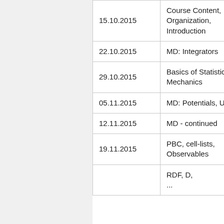| Date | Topic |  |
| --- | --- | --- |
| 15.10.2015 | Course Content, Organization, Introduction |  |
| 22.10.2015 | MD: Integrators |  |
| 29.10.2015 | Basics of Statistical Mechanics |  |
| 05.11.2015 | MD: Potentials, Units |  |
| 12.11.2015 | MD - continued |  |
| 19.11.2015 | PBC, cell-lists, Observables |  |
| 26.11.2015 | RDF, D, ... |  |